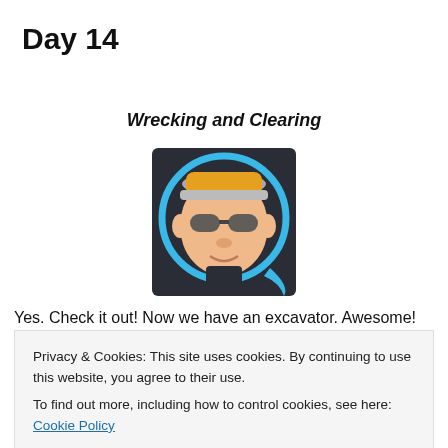Day 14
Wrecking and Clearing
[Figure (illustration): Circular avatar icon of an animated chubby man wearing sunglasses and an orange/yellow cap, with a blue circular border, on a dark background.]
Yes. Check it out! Now we have an excavator. Awesome!
Privacy & Cookies: This site uses cookies. By continuing to use this website, you agree to their use.
To find out more, including how to control cookies, see here: Cookie Policy
Close and accept